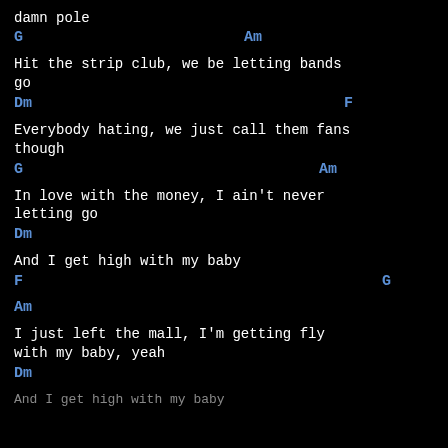damn pole
G                              Am
Hit the strip club, we be letting bands go
Dm                                          F
Everybody hating, we just call them fans though
G                                        Am
In love with the money, I ain't never letting go
Dm
And I get high with my baby
F                                            G
Am
I just left the mall, I'm getting fly with my baby, yeah
Dm
And I get high with my baby